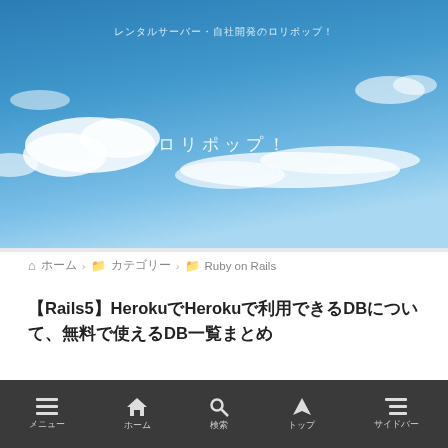レンタルサーバー・自社開発のロリポップ！
ロリポップ！
ホーム ＞ カテゴリー ＞ Ruby on Rails
【Rails5】HerokuでHerokuで利用できるDBについて、無料で使えるDB一覧まとめ
Ruby on Rails
メニュー　ホーム　検索　トップ　サイドバー